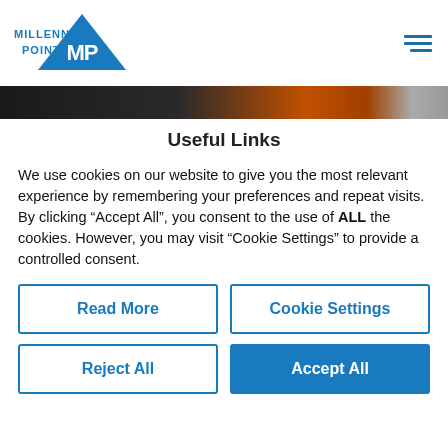Millennium Point
[Figure (photo): Dark hero banner image strip with orange/amber lighting visible on right side]
Useful Links
We use cookies on our website to give you the most relevant experience by remembering your preferences and repeat visits. By clicking “Accept All”, you consent to the use of ALL the cookies. However, you may visit “Cookie Settings” to provide a controlled consent.
Read More
Cookie Settings
Reject All
Accept All